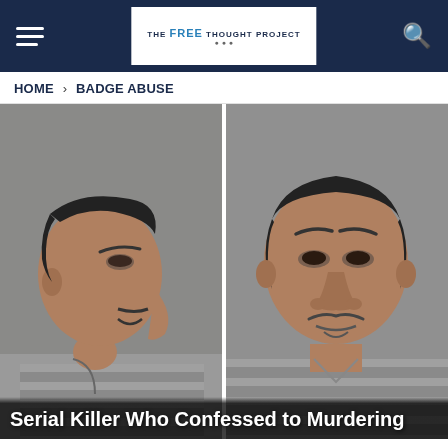The Free Thought Project — Navigation bar with hamburger menu and search icon
HOME > BADGE ABUSE
[Figure (photo): Mugshot booking photos showing a man in a gray striped jail uniform. Left side profile view and right side front-facing view, separated by a white vertical divider line. The subject has short dark hair and a mustache/goatee.]
Serial Killer Who Confessed to Murdering